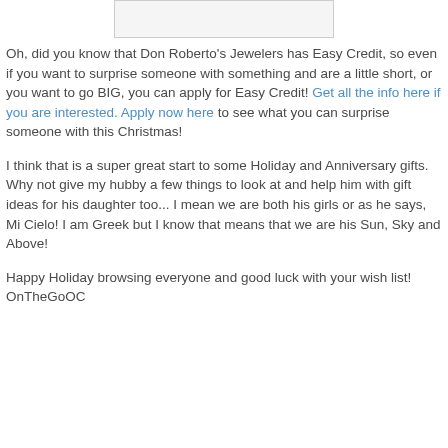[Figure (other): Image placeholder at top of page]
Oh, did you know that Don Roberto's Jewelers has Easy Credit, so even if you want to surprise someone with something and are a little short, or you want to go BIG, you can apply for Easy Credit! Get all the info here if you are interested. Apply now here to see what you can surprise someone with this Christmas!
I think that is a super great start to some Holiday and Anniversary gifts. Why not give my hubby a few things to look at and help him with gift ideas for his daughter too... I mean we are both his girls or as he says, Mi Cielo! I am Greek but I know that means that we are his Sun, Sky and Above!
Happy Holiday browsing everyone and good luck with your wish list!
OnTheGoOC